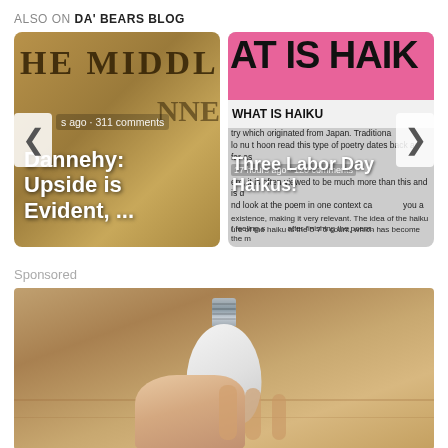ALSO ON DA' BEARS BLOG
[Figure (screenshot): Carousel of blog post previews. Left card shows a brown cardboard box image with text 'HE MIDDL' and overlay title 'Dannehy: Upside is Evident, ...' with '311 comments' meta. Right card shows a pink header with 'AT IS HAIK' text, subtitle 'WHAT IS HAIKU', body text about haiku poetry, '17 hours ago · 120 comments' meta, and title 'Three Labor Day Haikus!'. Navigation arrows visible on left and right sides.]
Sponsored
[Figure (photo): A hand holding a white light bulb with silver screw base, photographed against a wooden surface background.]